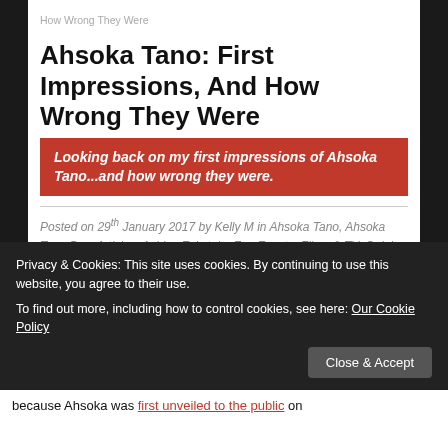How Wrong They Were
Ahsoka Tano: First Impressions, And How Wrong They Were
Looking back on my first impressions of Ahsoka Tano...and how wrong they were.
Posted on 29th January 2017 by Kelly M in Ahsoka Tano, Ahsoka Tano Day, Articles, Ashley Eckstein, Fan Events, Films & TV, Opinion Pieces, Star Wars, Star Wars Rebels, Star Wars: The Clone Wars // 9 Comments
Today, the Twittersphere is celebrating the third
because Ahsoka was first unveiled to the public on